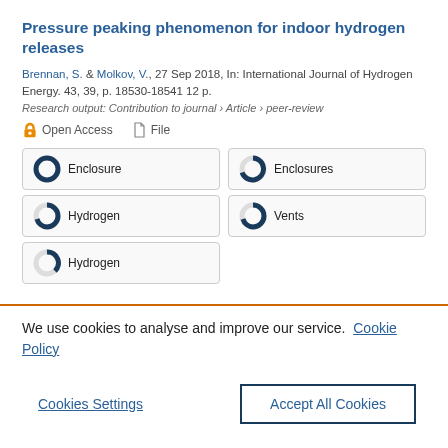Pressure peaking phenomenon for indoor hydrogen releases
Brennan, S. & Molkov, V., 27 Sep 2018, In: International Journal of Hydrogen Energy. 43, 39, p. 18530-18541 12 p.
Research output: Contribution to journal › Article › peer-review
Open Access   File
Enclosure
Enclosures
Hydrogen
Vents
Hydrogen
We use cookies to analyse and improve our service. Cookie Policy
Cookies Settings    Accept All Cookies